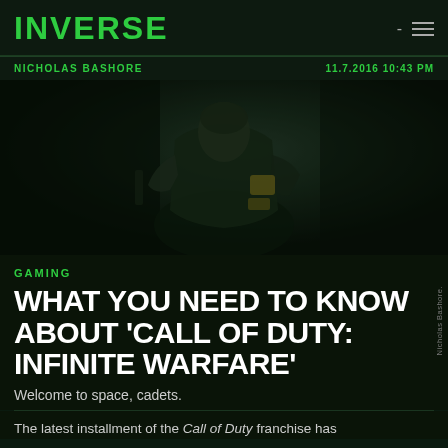INVERSE
NICHOLAS BASHORE   11.7.2016 10:43 PM
[Figure (photo): A soldier in dark futuristic military armor, holding a weapon, set against a dark green-tinted background suggesting a sci-fi military environment.]
GAMING
WHAT YOU NEED TO KNOW ABOUT 'CALL OF DUTY: INFINITE WARFARE'
Welcome to space, cadets.
Nicholas Bashore.
The latest installment of the Call of Duty franchise has